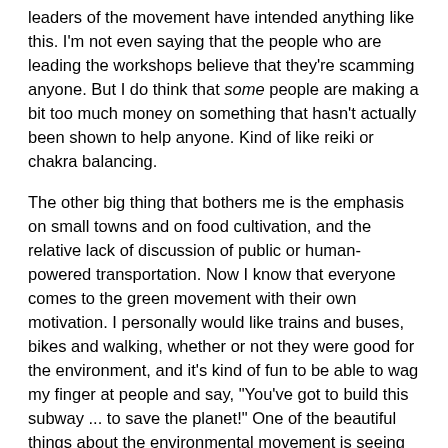leaders of the movement have intended anything like this. I'm not even saying that the people who are leading the workshops believe that they're scamming anyone. But I do think that some people are making a bit too much money on something that hasn't actually been shown to help anyone. Kind of like reiki or chakra balancing.
The other big thing that bothers me is the emphasis on small towns and on food cultivation, and the relative lack of discussion of public or human-powered transportation. Now I know that everyone comes to the green movement with their own motivation. I personally would like trains and buses, bikes and walking, whether or not they were good for the environment, and it's kind of fun to be able to wag my finger at people and say, "You've got to build this subway ... to save the planet!" One of the beautiful things about the environmental movement is seeing the solar power people and the local food people and the clean river people all coming together and knowing that their areas of personal concern are part of a bigger need.
One problem with a lot of the green movement is that there's